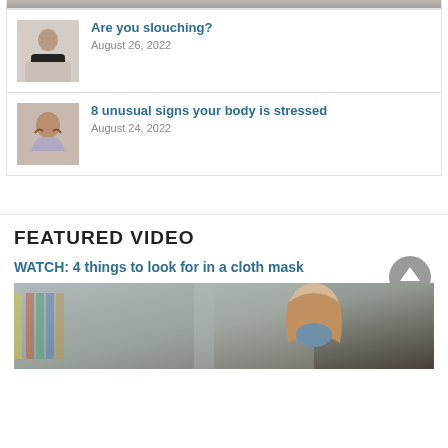[Figure (photo): Partial image of a person at top of page (cropped)]
Are you slouching?
August 26, 2022
[Figure (photo): Woman with hands on temples looking stressed]
8 unusual signs your body is stressed
August 24, 2022
FEATURED VIDEO
WATCH: 4 things to look for in a cloth mask
[Figure (photo): Woman wearing a cloth face mask in a store]